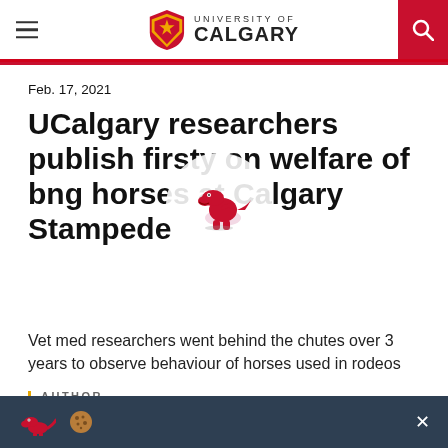University of Calgary
Feb. 17, 2021
UCalgary researchers publish first study on welfare of bucking horses at Calgary Stampede
Vet med researchers went behind the chutes over 3 years to observe behaviour of horses used in rodeos
AUTHOR
[Figure (logo): Red dinosaur mascot logo and cookie icon on dark teal bottom bar]